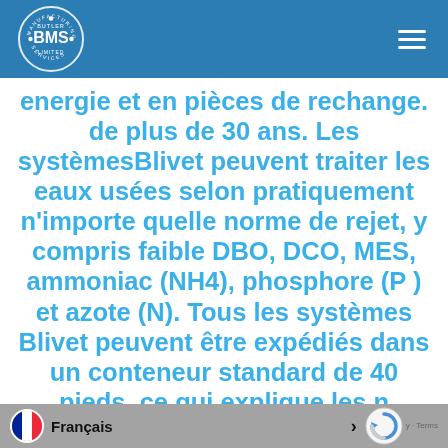BMS - Butler Manufacturing Services
energie et en pieces de rechange. de plus de 30 ans. Les systèmesBlivet peuvent traiter les eaux usées selon pratiquement n'importe quelle norme de rejet, y compris faible DBO, DCO, MES, ammoniac (NH4), phosphore (P ) et azote (N). Tous les systèmes Blivet peuvent être expédiés dans un conteneur standard de 40 pieds, ce qui explique les r...
Français